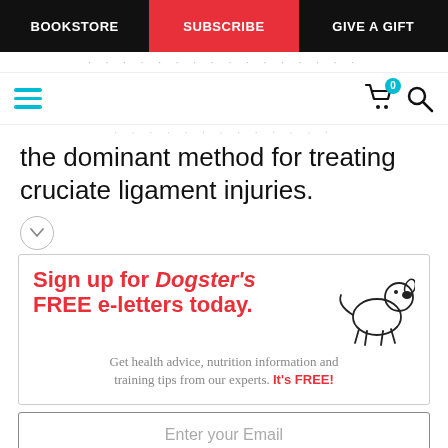BOOKSTORE | SUBSCRIBE | GIVE A GIFT
the dominant method for treating cruciate ligament injuries.
[Figure (infographic): Dogster newsletter sign-up promotional box with illustrated dog. Headline: Sign up for Dogster's FREE e-letters today. Subtext: Get health advice, nutrition information and training tips from our experts. It's FREE!]
Enter your Email
YES! SIGN ME UP